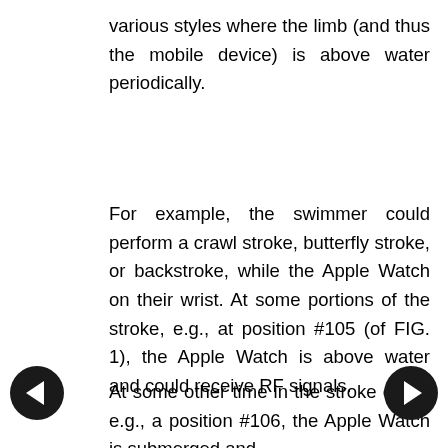various styles where the limb (and thus the mobile device) is above water periodically.
For example, the swimmer could perform a crawl stroke, butterfly stroke, or backstroke, while the Apple Watch on their wrist. At some portions of the stroke, e.g., at position #105 (of FIG. 1), the Apple Watch is above water and could receive RF signals.
At some other time in the stroke cycle, e.g., at position #106, the Apple Watch is submerged and cannot receive RF signals. Moreover, the